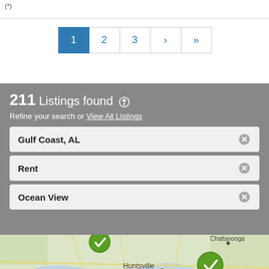(*)
1  2  3  ›  »
211 Listings found
Refine your search or View All Listings
Gulf Coast, AL
Rent
Ocean View
[Figure (map): Map of Alabama showing locations near Huntsville, Tupelo, Chattanooga with green map marker pins indicating listings]